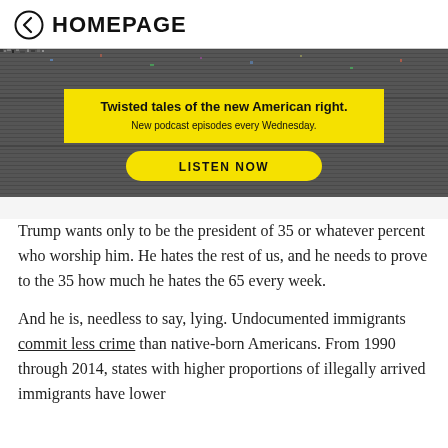← HOMEPAGE
[Figure (other): Advertisement banner with static/noise background. Yellow box reads: 'Twisted tales of the new American right. New podcast episodes every Wednesday.' Yellow oval button: 'LISTEN NOW']
Trump wants only to be the president of 35 or whatever percent who worship him. He hates the rest of us, and he needs to prove to the 35 how much he hates the 65 every week.
And he is, needless to say, lying. Undocumented immigrants commit less crime than native-born Americans. From 1990 through 2014, states with higher proportions of illegally arrived immigrants have lower